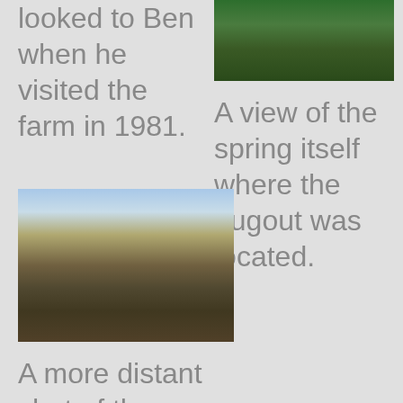looked to Ben when he visited the farm in 1981.
[Figure (photo): Photo of green shrubs/trees, top right]
A view of the spring itself where the dugout was located.
[Figure (photo): A more distant shot of the ravine landscape, wide flat terrain with scrub brush]
A more distant shot of the ravine as Ben saw it in 1981.